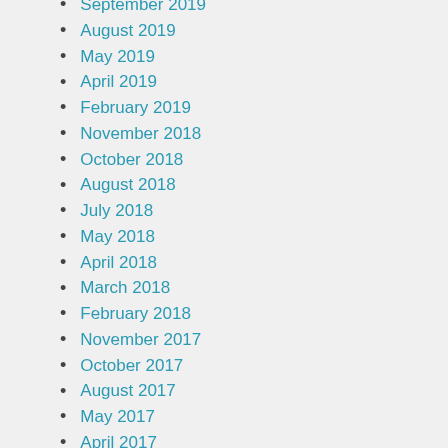September 2019
August 2019
May 2019
April 2019
February 2019
November 2018
October 2018
August 2018
July 2018
May 2018
April 2018
March 2018
February 2018
November 2017
October 2017
August 2017
May 2017
April 2017
January 2017
December 2016
November 2016
October 2016
September 2016
August 2016
July 2016
April 2016